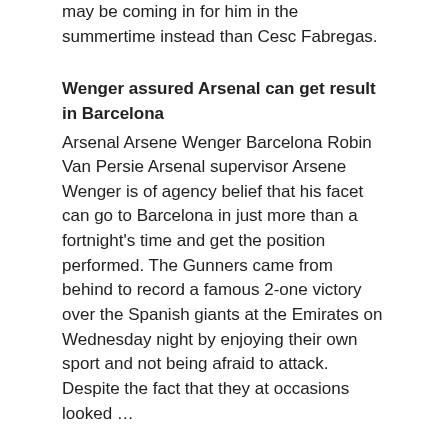may be coming in for him in the summertime instead than Cesc Fabregas.
Wenger assured Arsenal can get result in Barcelona
Arsenal Arsene Wenger Barcelona Robin Van Persie Arsenal supervisor Arsene Wenger is of agency belief that his facet can go to Barcelona in just more than a fortnight's time and get the position performed. The Gunners came from behind to record a famous 2-one victory over the Spanish giants at the Emirates on Wednesday night by enjoying their own sport and not being afraid to attack. Despite the fact that they at occasions looked …
Martin Keown's Emirates Stadium Match Zone: Jack the lad shines as defensive qualities slide
Jack Wilshere was immense for Arsenal and soon after that performance you consider Barcelona might be coming in for him in the summertime fairly than Cesc Fabregas.